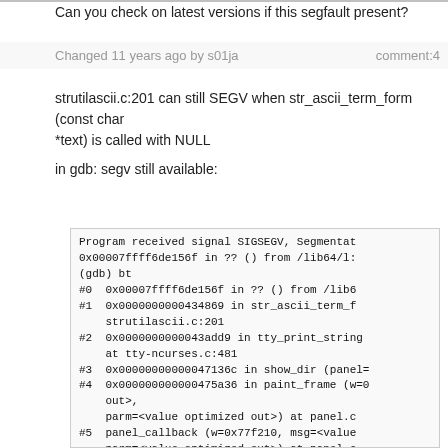Can you check on latest versions if this segfault present?
Changed 11 years ago by s01ja	comment:4
strutilascii.c:201 can still SEGV when str_ascii_term_form (const char
*text) is called with NULL
in gdb: segv still available:
[Figure (screenshot): Terminal/gdb output showing a segfault backtrace with SIGSEGV signal and stack frames #0 through #9 including str_ascii_term_form, tty_print_string, show_dir, paint_frame, panel_callback, send_message, dlg_broadcast_msg_to, dlg_redraw, do_refresh]